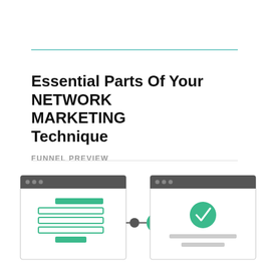Essential Parts Of Your NETWORK MARKETING Technique
FUNNEL PREVIEW
[Figure (flowchart): A two-step funnel diagram showing a web form page connected via a dot and green checkmark circle to a second web page with a green checkmark circle, connected by an arrow.]